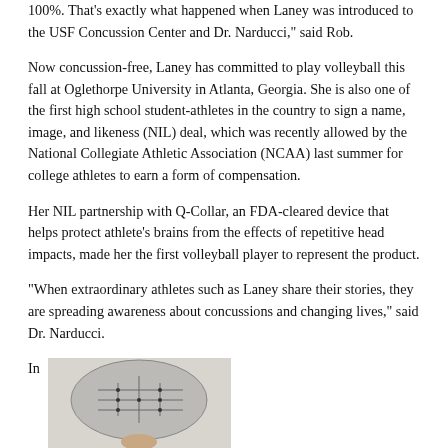100%. That’s exactly what happened when Laney was introduced to the USF Concussion Center and Dr. Narducci,” said Rob.
Now concussion-free, Laney has committed to play volleyball this fall at Oglethorpe University in Atlanta, Georgia. She is also one of the first high school student-athletes in the country to sign a name, image, and likeness (NIL) deal, which was recently allowed by the National Collegiate Athletic Association (NCAA) last summer for college athletes to earn a form of compensation.
Her NIL partnership with Q-Collar, an FDA-cleared device that helps protect athlete’s brains from the effects of repetitive head impacts, made her the first volleyball player to represent the product.
“When extraordinary athletes such as Laney share their stories, they are spreading awareness about concussions and changing lives,” said Dr. Narducci.
In
[Figure (photo): Photo of a brain circuit illustration — a human brain depicted with circuit board patterns, held or displayed against a light background.]